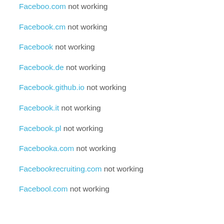Faceboo.com not working
Facebook.cm not working
Facebook not working
Facebook.de not working
Facebook.github.io not working
Facebook.it not working
Facebook.pl not working
Facebooka.com not working
Facebookrecruiting.com not working
Facebool.com not working